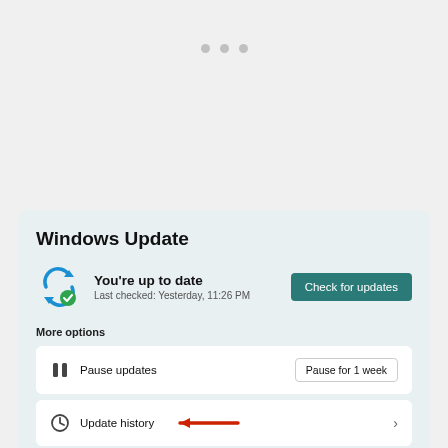[Figure (screenshot): Three gray dots in the upper area of the screen, indicating a loading indicator or ellipsis menu.]
[Figure (screenshot): Windows Update settings panel showing status 'You're up to date', last checked yesterday at 11:26 PM, with a 'Check for updates' button, and options including 'Pause updates' with 'Pause for 1 week' button, 'Update history' with a red arrow pointing to it, and partially visible 'Advanced options'.]